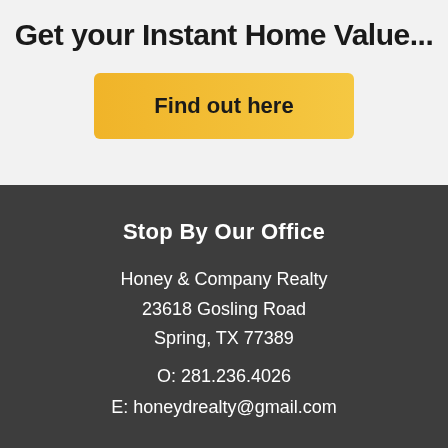Get your Instant Home Value...
[Figure (other): Yellow gradient button labeled 'Find out here']
Stop By Our Office
Honey & Company Realty
23618 Gosling Road
Spring, TX 77389
O: 281.236.4026
E: honeydrealty@gmail.com